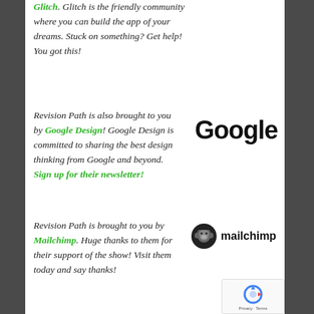Glitch. Glitch is the friendly community where you can build the app of your dreams. Stuck on something? Get help! You got this!
Revision Path is also brought to you by Google Design! Google Design is committed to sharing the best design thinking from Google and beyond. Sign up for their newsletter!
[Figure (logo): Google wordmark logo in black]
Revision Path is brought to you by Mailchimp. Huge thanks to them for their support of the show! Visit them today and say thanks!
[Figure (logo): Mailchimp logo with chimp icon and mailchimp wordmark]
[Figure (logo): Google reCAPTCHA badge with Privacy and Terms links]